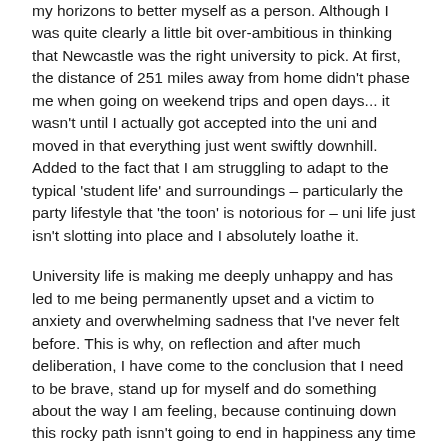my horizons to better myself as a person. Although I was quite clearly a little bit over-ambitious in thinking that Newcastle was the right university to pick. At first, the distance of 251 miles away from home didn't phase me when going on weekend trips and open days... it wasn't until I actually got accepted into the uni and moved in that everything just went swiftly downhill. Added to the fact that I am struggling to adapt to the typical 'student life' and surroundings – particularly the party lifestyle that 'the toon' is notorious for – uni life just isn't slotting into place and I absolutely loathe it.
University life is making me deeply unhappy and has led to me being permanently upset and a victim to anxiety and overwhelming sadness that I've never felt before. This is why, on reflection and after much deliberation, I have come to the conclusion that I need to be brave, stand up for myself and do something about the way I am feeling, because continuing down this rocky path isnn't going to end in happiness any time soon, and ultimately, happiness is the most important thing. You